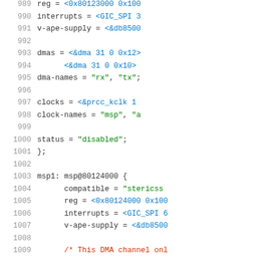Source code listing, lines 989-1009, device tree configuration for msp0 and msp1 peripherals
989   reg = <0x80123000 0x100
990   interrupts = <GIC_SPI 3
991   v-ape-supply = <&db8500
992   (blank)
993   dmas = <&dma 31 0 0x12>
994         <&dma 31 0 0x10>
995   dma-names = "rx", "tx";
996   (blank)
997   clocks = <&prcc_kclk 1
998   clock-names = "msp", "a
999   (blank)
1000  status = "disabled";
1001  };
1002  (blank)
1003  msp1: msp@80124000 {
1004        compatible = "stericss
1005        reg = <0x80124000 0x100
1006        interrupts = <GIC_SPI 6
1007        v-ape-supply = <&db8500
1008  (blank)
1009        /* This DMA channel onl